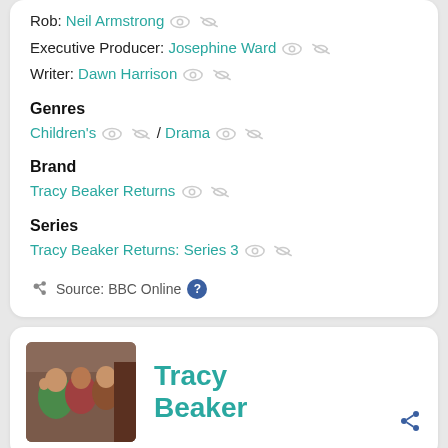Rob: Neil Armstrong
Executive Producer: Josephine Ward
Writer: Dawn Harrison
Genres
Children's / Drama
Brand
Tracy Beaker Returns
Series
Tracy Beaker Returns: Series 3
Source: BBC Online
[Figure (photo): Group photo of people including children, one wearing green, one in red, outdoors]
Tracy Beaker